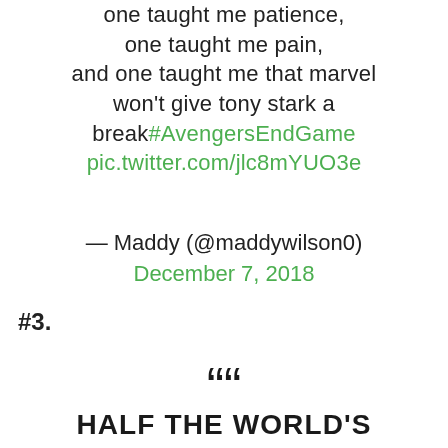one taught me patience, one taught me pain, and one taught me that marvel won't give tony stark a break#AvengersEndGame pic.twitter.com/jlc8mYUO3e
— Maddy (@maddywilson0) December 7, 2018
#3.
““
HALF THE WORLD'S POPULATION IS DEAD AND